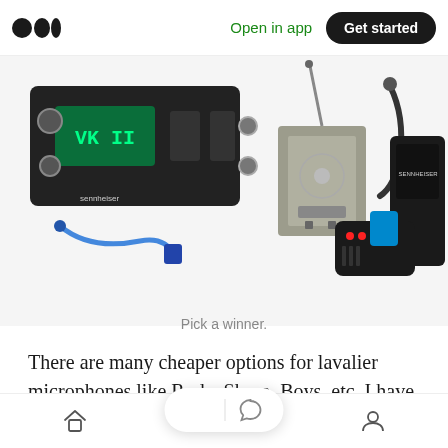Open in app | Get started
[Figure (photo): Multiple lavalier microphone wireless systems and accessories including a Sennheiser receiver with green display, a small transmitter box with antenna, a cable, a black wireless pack with blue accent, and a Sennheiser device on white background.]
Pick a winner.
There are many cheaper options for lavalier microphones like Rode, Shure, Boys, etc. I have not filmed with many of them. I am sure they are better than nothing. It's also worth noting that the microphone its a huge difference in the audio quality. I...
Home | Search | Profile